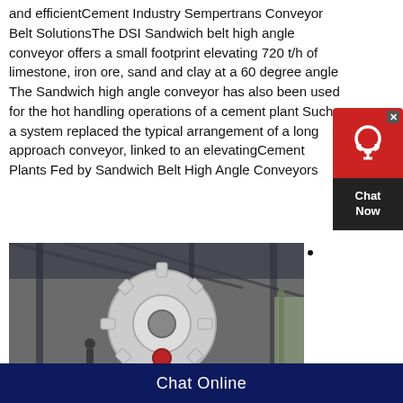and efficientCement Industry Sempertrans Conveyor Belt SolutionsThe DSI Sandwich belt high angle conveyor offers a small footprint elevating 720 t/h of limestone, iron ore, sand and clay at a 60 degree angle The Sandwich high angle conveyor has also been used for the hot handling operations of a cement plant Such a system replaced the typical arrangement of a long approach conveyor, linked to an elevatingCement Plants Fed by Sandwich Belt High Angle Conveyors
[Figure (photo): Industrial warehouse/factory interior showing large heavy machinery with a large white gear/wheel mechanism in the foreground, structural steel beams and roof visible in background.]
Chat Online